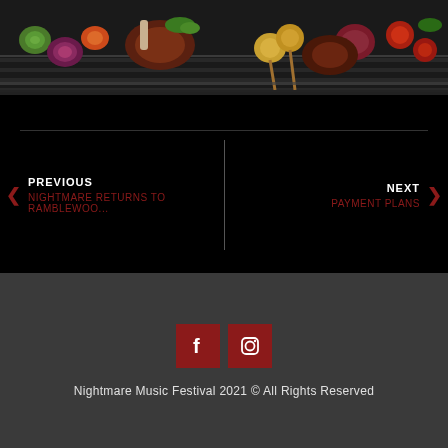[Figure (photo): Grilled meats and vegetables on a BBQ grill — includes skewered potatoes, lamb chops, red onions, zucchini, cherry tomatoes, and other grilled items on metal grill grates]
< PREVIOUS
Nightmare Returns To Ramblewoo...
NEXT >
PAYMENT PLANS
[Figure (other): Facebook icon (white 'f' on dark red square background)]
[Figure (other): Instagram icon (white camera icon on dark red square background)]
Nightmare Music Festival 2021 © All Rights Reserved